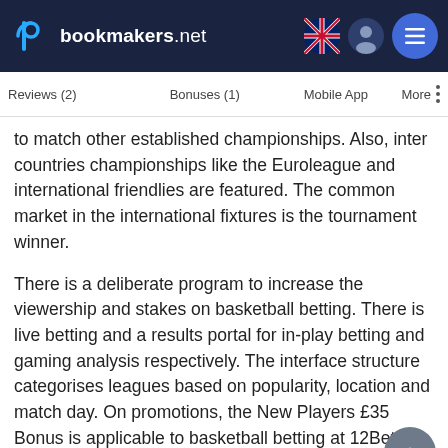bookmakers.net
Reviews (2)   Bonuses (1)   Mobile App   More
to match other established championships. Also, inter countries championships like the Euroleague and international friendlies are featured. The common market in the international fixtures is the tournament winner.
There is a deliberate program to increase the viewership and stakes on basketball betting. There is live betting and a results portal for in-play betting and gaming analysis respectively. The interface structure categorises leagues based on popularity, location and match day. On promotions, the New Players £35 Bonus is applicable to basketball betting at 12Bet.